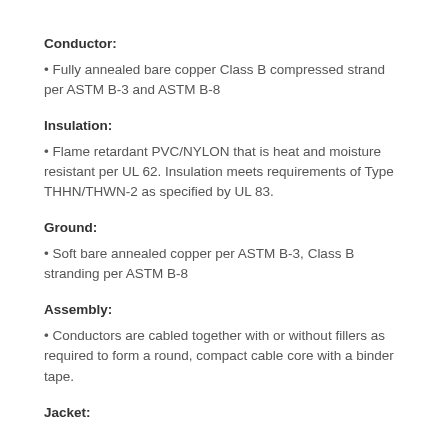Conductor:
• Fully annealed bare copper Class B compressed strand per ASTM B-3 and ASTM B-8
Insulation:
• Flame retardant PVC/NYLON that is heat and moisture resistant per UL 62. Insulation meets requirements of Type THHN/THWN-2 as specified by UL 83.
Ground:
• Soft bare annealed copper per ASTM B-3, Class B stranding per ASTM B-8
Assembly:
• Conductors are cabled together with or without fillers as required to form a round, compact cable core with a binder tape.
Jacket: